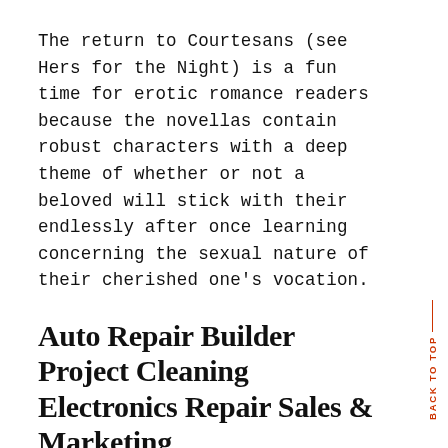The return to Courtesans (see Hers for the Night) is a fun time for erotic romance readers because the novellas contain robust characters with a deep theme of whether or not a beloved will stick with their endlessly after once learning concerning the sexual nature of their cherished one's vocation.
Auto Repair Builder Project Cleaning Electronics Repair Sales & Marketing
thirteen Governments in creating international locations could want to use conventional herbal